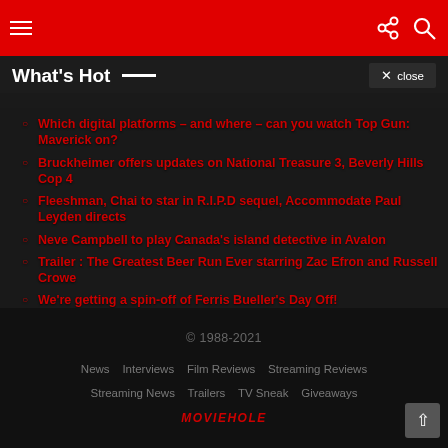Menu / Share / Search icons
What's Hot
Which digital platforms – and where – can you watch Top Gun: Maverick on?
Bruckheimer offers updates on National Treasure 3, Beverly Hills Cop 4
Fleeshman, Chai to star in R.I.P.D sequel, Accommodate Paul Leyden directs
Neve Campbell to play Canada's island detective in Avalon
Trailer : The Greatest Beer Run Ever starring Zac Efron and Russell Crowe
We're getting a spin-off of Ferris Bueller's Day Off!
Gosling joins Robbie in Ocean's Eleven reboot
© 1988-2021  News  Interviews  Film Reviews  Streaming Reviews  Streaming News  Trailers  TV Sneak  Giveaways  MOVIEHOLE